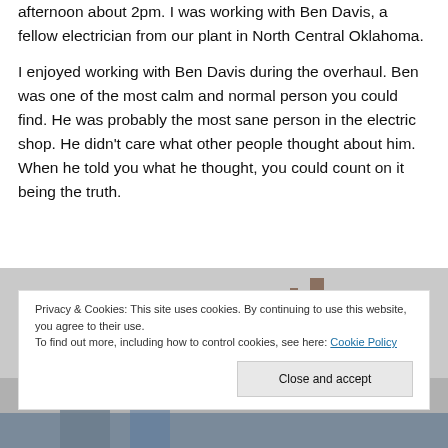afternoon about 2pm. I was working with Ben Davis, a fellow electrician from our plant in North Central Oklahoma.
I enjoyed working with Ben Davis during the overhaul. Ben was one of the most calm and normal person you could find. He was probably the most sane person in the electric shop. He didn't care what other people thought about him. When he told you what he thought, you could count on it being the truth.
[Figure (photo): Partial photo showing silhouettes or figures, partially obscured by a cookie consent banner overlay.]
Privacy & Cookies: This site uses cookies. By continuing to use this website, you agree to their use.
To find out more, including how to control cookies, see here: Cookie Policy
Close and accept